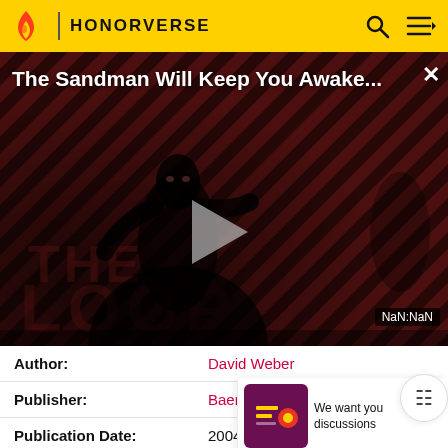HONORVERSE
[Figure (screenshot): Video player overlay showing 'The Sandman Will Keep You Awake...' title with a dark figure silhouette against diagonal striped background and a play button. THE LOOP text visible. Timestamp shows NaN:NaN.]
| Field | Value |
| --- | --- |
| Author: | David Weber |
| Publisher: | Baen Books |
| Publication Date: | 2004 |
| Chapters: | 58 + prolog |
We want you discussions
SURVEY: ON